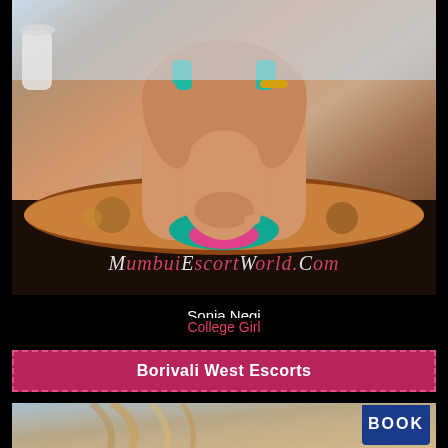[Figure (photo): Photo of a woman in teal/pink bikini with watermark 'MumbaiEscortWorld.Com']
Sonia Negi
College Girl
Borivali West Escorts
[Figure (photo): Partial photo of a woman with a blue 'BOOK' badge overlay]